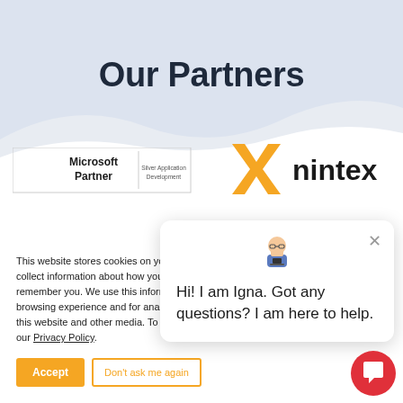Our Partners
[Figure (logo): Microsoft Partner - Silver Application Development logo]
[Figure (logo): Nintex logo with orange X mark]
This website stores cookies on yo... collect information about how you... remember you. We use this inform... browsing experience and for ana... this website and other media. To f... our Privacy Policy.
Hi! I am Igna. Got any questions? I am here to help.